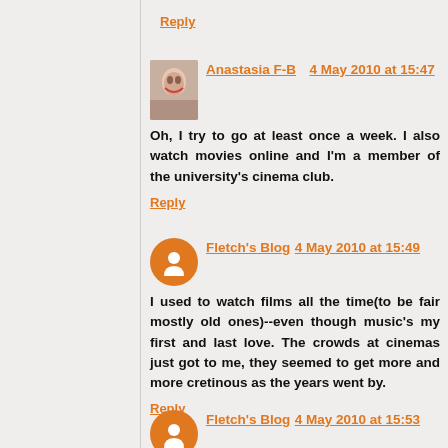Reply
Anastasia F-B   4 May 2010 at 15:47
Oh, I try to go at least once a week. I also watch movies online and I'm a member of the university's cinema club.
Reply
Fletch's Blog  4 May 2010 at 15:49
I used to watch films all the time(to be fair mostly old ones)--even though music's my first and last love. The crowds at cinemas just got to me, they seemed to get more and more cretinous as the years went by.
Reply
Fletch's Blog  4 May 2010 at 15:53